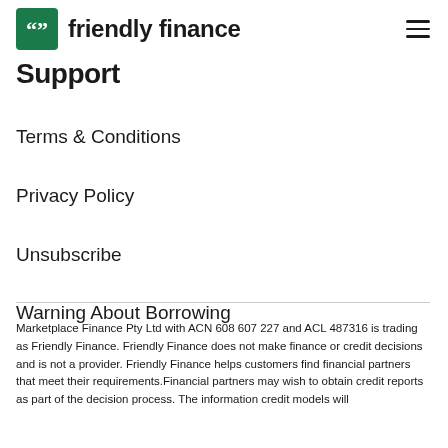friendly finance
Support
Terms & Conditions
Privacy Policy
Unsubscribe
Warning About Borrowing
Marketplace Finance Pty Ltd with ACN 608 607 227 and ACL 487316 is trading as Friendly Finance. Friendly Finance does not make finance or credit decisions and is not a provider. Friendly Finance helps customers find financial partners that meet their requirements.Financial partners may wish to obtain credit reports as part of the decision process. The information credit models will